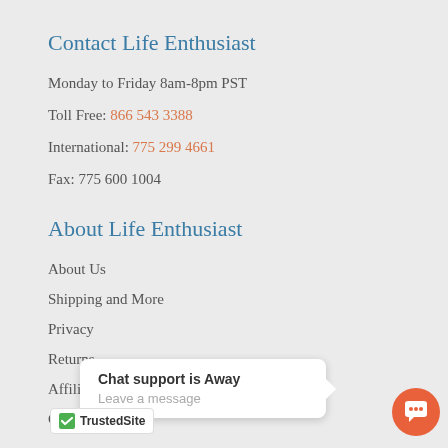Contact Life Enthusiast
Monday to Friday 8am-8pm PST
Toll Free: 866 543 3388
International: 775 299 4661
Fax: 775 600 1004
About Life Enthusiast
About Us
Shipping and More
Privacy
Returns
Affiliate Program
Contact
[Figure (other): Chat support popup widget: 'Chat support is Away / Leave a message' with orange chat icon button]
[Figure (logo): TrustedSite badge with green checkmark]